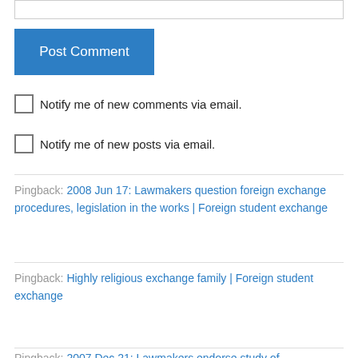[input box]
Post Comment
Notify me of new comments via email.
Notify me of new posts via email.
Pingback: 2008 Jun 17: Lawmakers question foreign exchange procedures, legislation in the works | Foreign student exchange
Pingback: Highly religious exchange family | Foreign student exchange
Pingback: 2007 Dec 21: Lawmakers endorse study of